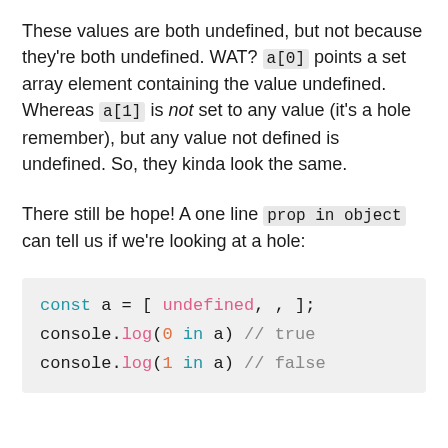These values are both undefined, but not because they're both undefined. WAT? a[0] points a set array element containing the value undefined. Whereas a[1] is not set to any value (it's a hole remember), but any value not defined is undefined. So, they kinda look the same.
There still be hope! A one line prop in object can tell us if we're looking at a hole:
const a = [ undefined, , ];
console.log(0 in a) // true
console.log(1 in a) // false